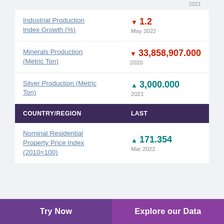2021
Industrial Production Index Growth (%)
▼ 1.2
May 2022
Minerals Production (Metric Ton)
▼ 33,858,907.000
2020
Silver Production (Metric Ton)
▲ 3,000.000
2021
COUNTRY/REGION	LAST
Nominal Residential Property Price Index (2010=100)
▲ 171.354
Mar 2022
Try Now	Explore our Data